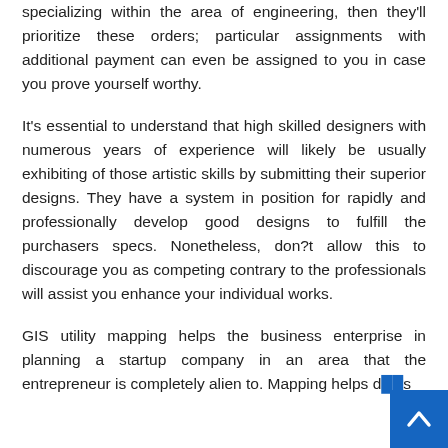specializing within the area of engineering, then they'll prioritize these orders; particular assignments with additional payment can even be assigned to you in case you prove yourself worthy.
It's essential to understand that high skilled designers with numerous years of experience will likely be usually exhibiting of those artistic skills by submitting their superior designs. They have a system in position for rapidly and professionally develop good designs to fulfill the purchasers specs. Nonetheless, don?t allow this to discourage you as competing contrary to the professionals will assist you enhance your individual works.
GIS utility mapping helps the business enterprise in planning a startup company in an area that the entrepreneur is completely alien to. Mapping helps d s